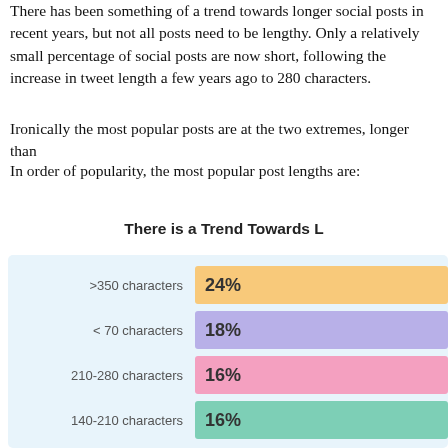There has been something of a trend towards longer social posts in recent years, but not all posts need to be lengthy. Only a relatively small percentage of social posts are now short, following the increase in tweet length a few years ago to 280 characters.
Ironically the most popular posts are at the two extremes, longer than 350 characters or shorter than 70.
In order of popularity, the most popular post lengths are:
[Figure (bar-chart): There is a Trend Towards Longer Posts]